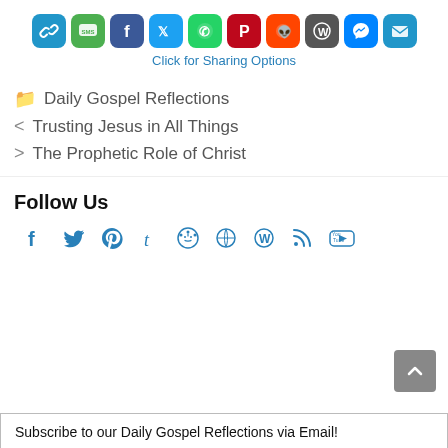[Figure (infographic): Row of 10 social sharing icon buttons: link, SMS, Facebook, Twitter, WhatsApp, Pinterest, Reddit, WordPress, Messenger, Email]
Click for Sharing Options
Daily Gospel Reflections
< Trusting Jesus in All Things
> The Prophetic Role of Christ
Follow Us
[Figure (infographic): Row of 9 follow/social media icons: Facebook, Twitter, Pinterest, Tumblr, Reddit, WordPress, WordPress, RSS, YouTube]
Subscribe to our Daily Gospel Reflections via Email!